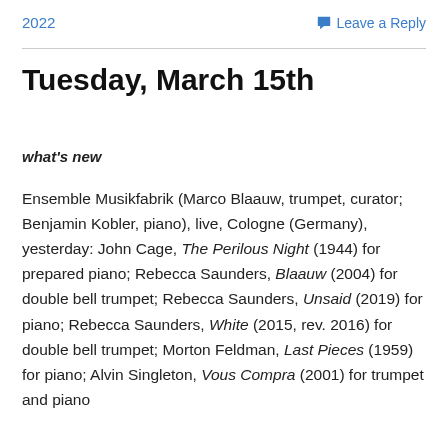2022
Leave a Reply
Tuesday, March 15th
what's new
Ensemble Musikfabrik (Marco Blaauw, trumpet, curator; Benjamin Kobler, piano), live, Cologne (Germany), yesterday: John Cage, The Perilous Night (1944) for prepared piano; Rebecca Saunders, Blaauw (2004) for double bell trumpet; Rebecca Saunders, Unsaid (2019) for piano; Rebecca Saunders, White (2015, rev. 2016) for double bell trumpet; Morton Feldman, Last Pieces (1959) for piano; Alvin Singleton, Vous Compra (2001) for trumpet and piano